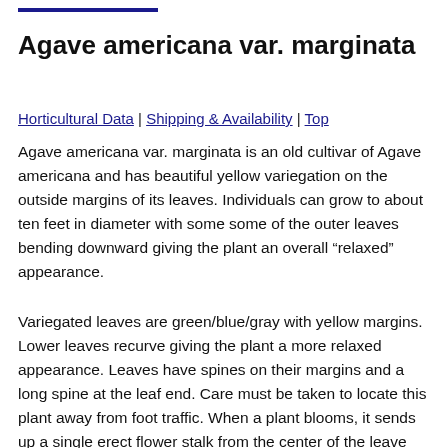Agave americana var. marginata
Horticultural Data | Shipping & Availability | Top
Agave americana var. marginata is an old cultivar of Agave americana and has beautiful yellow variegation on the outside margins of its leaves. Individuals can grow to about ten feet in diameter with some some of the outer leaves bending downward giving the plant an overall “relaxed” appearance.
Variegated leaves are green/blue/gray with yellow margins. Lower leaves recurve giving the plant a more relaxed appearance. Leaves have spines on their margins and a long spine at the leaf end. Care must be taken to locate this plant away from foot traffic. When a plant blooms, it sends up a single erect flower stalk from the center of the leave rosette; this spike can reach 40 feet tall. The flower stalk resembles a